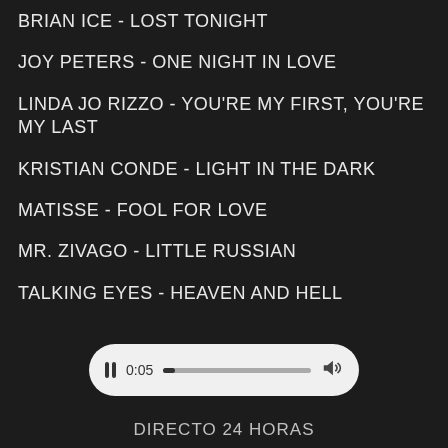Brian Ice - Lost Tonight
Joy Peters - One Night In Love
Linda Jo Rizzo - You're My First, You're My Last
Kristian Conde - Light In The Dark
Matisse - Fool For Love
Mr. Zivago - Little Russian
Talking Eyes - Heaven And Hell
[Figure (other): Audio player bar showing pause button, time 0:05, progress bar, and volume icon]
Directo 24 Horas